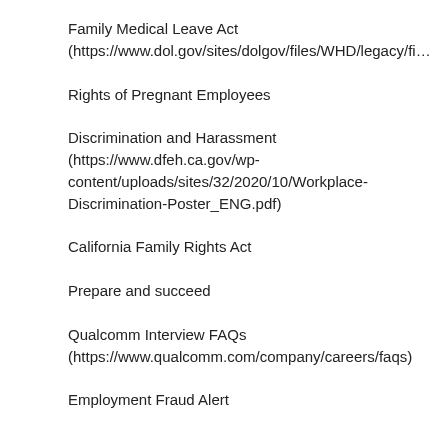Family Medical Leave Act (https://www.dol.gov/sites/dolgov/files/WHD/legacy/fi…)
Rights of Pregnant Employees
Discrimination and Harassment (https://www.dfeh.ca.gov/wp-content/uploads/sites/32/2020/10/Workplace-Discrimination-Poster_ENG.pdf)
California Family Rights Act
Prepare and succeed
Qualcomm Interview FAQs (https://www.qualcomm.com/company/careers/faqs)
Employment Fraud Alert